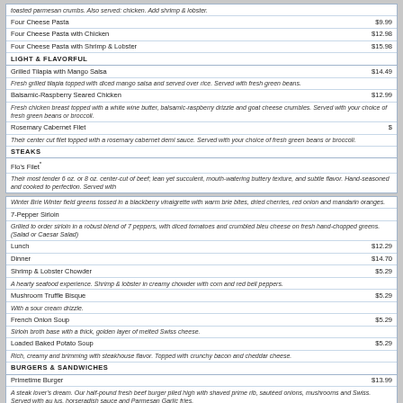| Item | Price |
| --- | --- |
| toasted parmesan crumbs. Also served: chicken. Add shrimp & lobster. |  |
| Four Cheese Pasta | $9.99 |
| Four Cheese Pasta with Chicken | $12.98 |
| Four Cheese Pasta with Shrimp & Lobster | $15.98 |
| LIGHT & FLAVORFUL |  |
| Grilled Tilapia with Mango Salsa | $14.49 |
| Fresh grilled tilapia topped with diced mango salsa and served over rice. Served with fresh green beans. |  |
| Balsamic-Raspberry Seared Chicken | $12.99 |
| Fresh chicken breast topped with a white wine butter, balsamic-raspberry drizzle and goat cheese crumbles. Served with your choice of fresh green beans or broccoli. |  |
| Rosemary Cabernet Filet | $ |
| Their center cut filet topped with a rosemary cabernet demi sauce. Served with your choice of fresh green beans or broccoli. |  |
| STEAKS |  |
| Flo's Filet* |  |
| Their most tender 6 oz. or 8 oz. center-cut of beef; lean yet succulent, mouth-watering buttery texture, and subtle flavor. Hand-seasoned and cooked to perfection. Served with |  |
| Item | Price |
| --- | --- |
| Winter Brie Winter field greens tossed in a blackberry vinaigrette with warm brie bites, dried cherries, red onion and mandarin oranges. |  |
| 7-Pepper Sirloin |  |
| Grilled to order sirloin in a robust blend of 7 peppers, with diced tomatoes and crumbled bleu cheese on fresh hand-chopped greens. (Salad or Caesar Salad) |  |
| Lunch | $12.29 |
| Dinner | $14.70 |
| Shrimp & Lobster Chowder | $5.29 |
| A hearty seafood experience. Shrimp & lobster in creamy chowder with corn and red bell peppers. |  |
| Mushroom Truffle Bisque | $5.29 |
| With a sour cream drizzle. |  |
| French Onion Soup | $5.29 |
| Sirloin broth base with a thick, golden layer of melted Swiss cheese. |  |
| Loaded Baked Potato Soup | $5.29 |
| Rich, creamy and brimming with steakhouse flavor. Topped with crunchy bacon and cheddar cheese. |  |
| BURGERS & SANDWICHES |  |
| Primetime Burger | $13.99 |
| A steak lover's dream. Our half-pound fresh beef burger piled high with shaved prime rib, sautéed onions, mushrooms and Swiss. Served with au jus, horseradish sauce and Parmesan Garlic fries. |  |